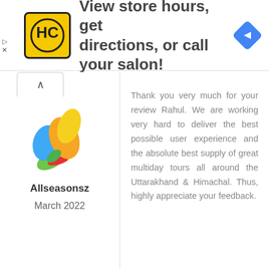[Figure (infographic): Advertisement banner with HC logo (yellow background with HC letters in circle), text 'View store hours, get directions, or call your salon!', and a blue diamond navigation icon on the right.]
[Figure (logo): Allseasonsz logo — colorful butterfly/leaf design with blue, orange, yellow and green elements.]
Allseasonsz
March 2022
Thank you very much for your review Rahul. We are working very hard to deliver the best possible user experience and the absolute best supply of great multiday tours all around the Uttarakhand & Himachal. Thus, highly appreciate your feedback.